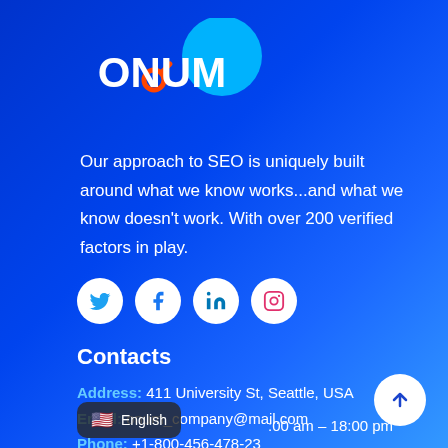[Figure (logo): ONUM logo with teal circle and orange magnifying glass icon]
Our approach to SEO is uniquely built around what we know works...and what we know doesn't work. With over 200 verified factors in play.
[Figure (infographic): Four social media icons in white circles: Twitter, Facebook, LinkedIn, Instagram]
Contacts
Address: 411 University St, Seattle, USA
Email: onum_company@mail.com
Phone: +1-800-456-478-23
English  :00 am – 18:00 pm